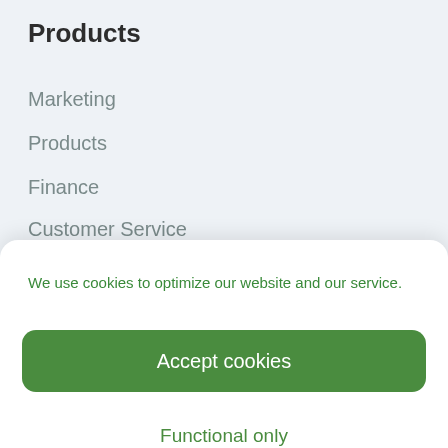Products
Marketing
Products
Finance
Customer Service
360 Customer Segmentation
Integrations
We use cookies to optimize our website and our service.
Accept cookies
Functional only
View preferences